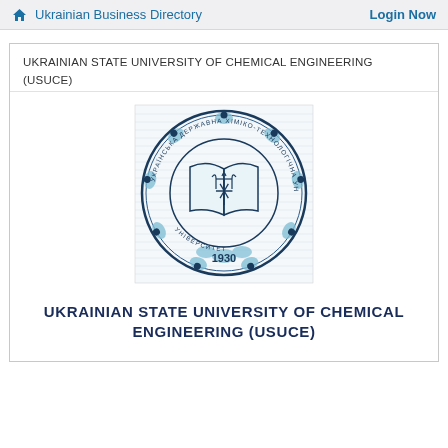Ukrainian Business Directory  Login Now
UKRAINIAN STATE UNIVERSITY OF CHEMICAL ENGINEERING (USUCE)
[Figure (logo): Circular university seal for Ukrainian State University of Chemical Engineering, established 1930, featuring an open book with trident emblem in the center, surrounded by decorative elements and Cyrillic text]
UKRAINIAN STATE UNIVERSITY OF CHEMICAL ENGINEERING (USUCE)